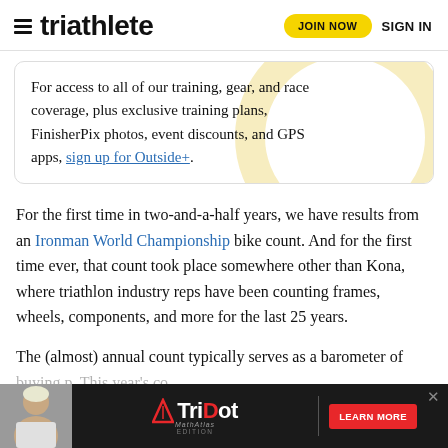triathlete | JOIN NOW | SIGN IN
For access to all of our training, gear, and race coverage, plus exclusive training plans, FinisherPix photos, event discounts, and GPS apps, sign up for Outside+.
For the first time in two-and-a-half years, we have results from an Ironman World Championship bike count. And for the first time ever, that count took place somewhere other than Kona, where triathlon industry reps have been counting frames, wheels, components, and more for the last 25 years.
The (almost) annual count typically serves as a barometer of buying p[...]This year's co[...]
[Figure (advertisement): TriDot advertisement banner with person photo, TriDot logo, and LEARN MORE button]